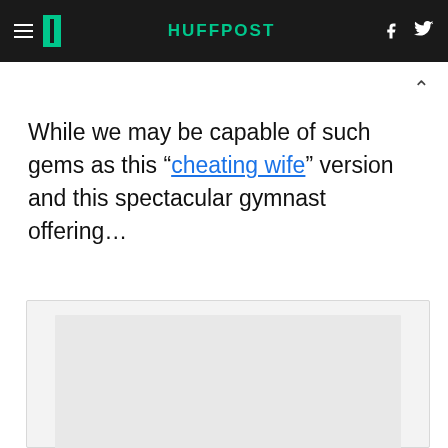HUFFPOST
While we may be capable of such gems as this “cheating wife” version and this spectacular gymnast offering…
[Figure (screenshot): Embedded media content box, light gray background with inner gray panel]